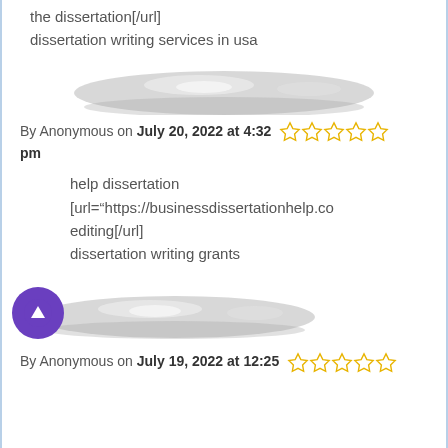the dissertation[/url]
dissertation writing services in usa
[Figure (illustration): Gray oval/ellipse avatar placeholder shape with gradient shading]
By Anonymous on July 20, 2022 at 4:32 pm ☆☆☆☆☆
help dissertation
[url="https://businessdissertationhelp.co
editing[/url]
dissertation writing grants
[Figure (illustration): Gray oval/ellipse avatar placeholder shape with gradient shading, with purple scroll-up button overlaid on left]
By Anonymous on July 19, 2022 at 12:25 ☆☆☆☆☆